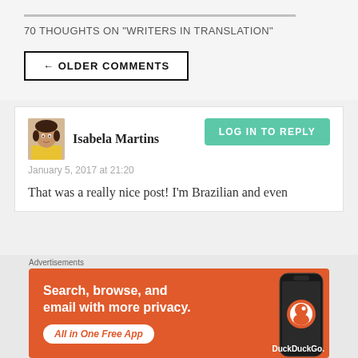70 THOUGHTS ON “WRITERS IN TRANSLATION”
← OLDER COMMENTS
Isabela Martins
January 5, 2017 at 21:20
That was a really nice post! I’m Brazilian and even
[Figure (screenshot): DuckDuckGo advertisement banner: orange background with text 'Search, browse, and email with more privacy. All in One Free App' and DuckDuckGo logo with phone graphic]
Advertisements